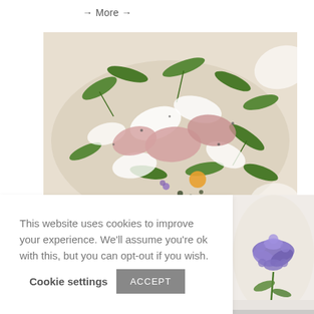→ More →
[Figure (photo): Close-up photo of a gourmet food dish with arugula leaves, white shaved elements, pink meats, herbs, and colorful garnishes on a cream-colored plate]
[Figure (photo): Close-up photo of a purple flower garnish on a white plate, visible in the right side of the page]
This website uses cookies to improve your experience. We'll assume you're ok with this, but you can opt-out if you wish. Cookie settings ACCEPT